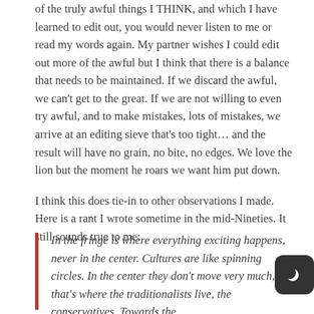of the truly awful things I THINK, and which I have learned to edit out, you would never listen to me or read my words again. My partner wishes I could edit out more of the awful but I think that there is a balance that needs to be maintained. If we discard the awful, we can't get to the great. If we are not willing to even try awful, and to make mistakes, lots of mistakes, we arrive at an editing sieve that's too tight... and the result will have no grain, no bite, no edges. We love the lion but the moment he roars we want him put down.

I think this does tie-in to other observations I made. Here is a rant I wrote sometime in the mid-Nineties. It still sounds true to me:
In the fringe is where everything exciting happens, never in the center. Cultures are like spinning circles. In the center they don't move very much, that's where the traditionalists live, the conservatives. Towards the